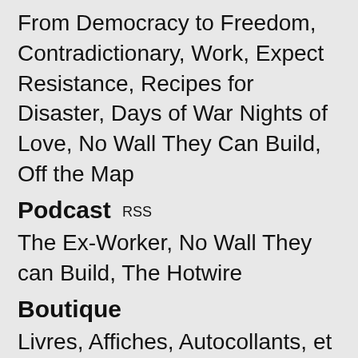From Democracy to Freedom, Contradictionary, Work, Expect Resistance, Recipes for Disaster, Days of War Nights of Love, No Wall They Can Build, Off the Map
Podcast RSS
The Ex-Worker, No Wall They can Build, The Hotwire
Boutique
Livres, Affiches, Autocollants, et plus encore…
Langues
English, Español, Italiano, Deutsch, Português Brasileiro, Français, Suomi, Русский, Bahasa Indonesia, Ελληνικά, Polski, 한국어, čeština, فارسی, Nederlands, Türkçe, हिन्दी,